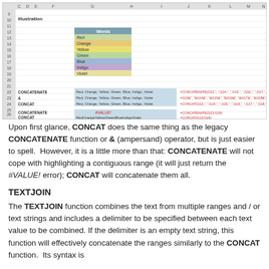[Figure (screenshot): Excel spreadsheet screenshot showing CONCATENATE, &, and CONCAT functions with color-coded cells containing words Red, Orange, Yellow, Green, Blue, Indigo, Violet in a 'Words' column, along with formula examples and results including a #VALUE! error row.]
Upon first glance, CONCAT does the same thing as the legacy CONCATENATE function or & (ampersand) operator, but is just easier to spell.  However, it is a little more than that: CONCATENATE will not cope with highlighting a contiguous range (it will just return the #VALUE! error); CONCAT will concatenate them all.
TEXTJOIN
The TEXTJOIN function combines the text from multiple ranges and / or text strings and includes a delimiter to be specified between each text value to be combined. If the delimiter is an empty text string, this function will effectively concatenate the ranges similarly to the CONCAT function.  Its syntax is